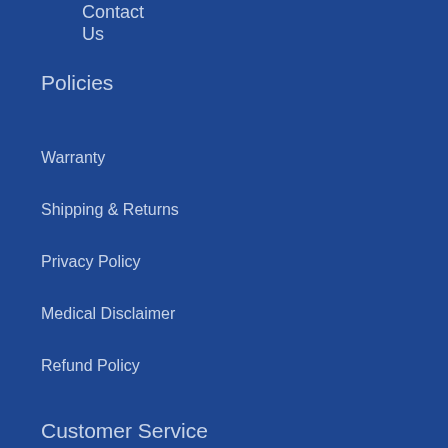Contact Us
Policies
Warranty
Shipping & Returns
Privacy Policy
Medical Disclaimer
Refund Policy
Customer Service